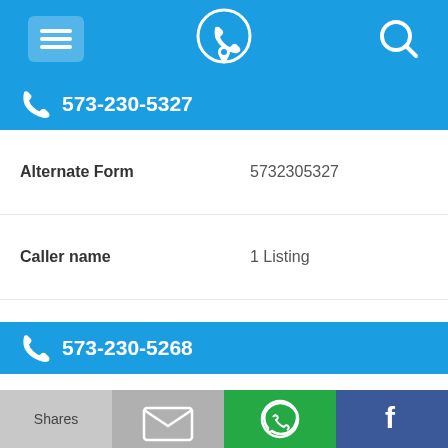[Figure (screenshot): Mobile app top navigation bar with hamburger menu, phone/location icon, and search icon on blue background]
573-230-5327
| Field | Value |
| --- | --- |
| Alternate Form | 5732305327 |
| Caller name | 1 Listing |
| Last User Search | 01/26/18, 2:51 am by a ... |
| Comments | 0 |
573-230-5268
| Field | Value |
| --- | --- |
| Alternate Form | 5732305268 |
[Figure (screenshot): Bottom share bar with Shares button (gray), email icon (gray), WhatsApp icon (green), Facebook icon (blue)]